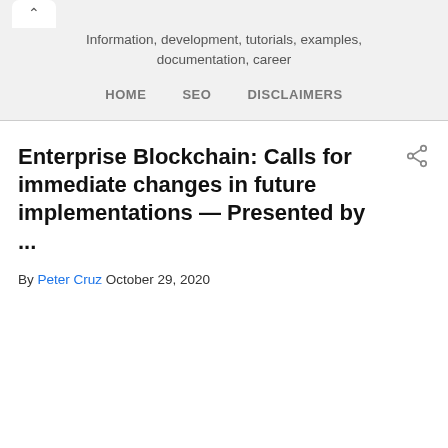Information, development, tutorials, examples, documentation, career
HOME   SEO   DISCLAIMERS
Enterprise Blockchain: Calls for immediate changes in future implementations — Presented by ...
By Peter Cruz October 29, 2020